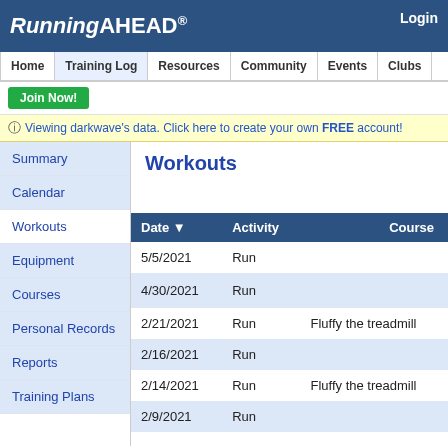RunningAHEAD®
Login
Home | Training Log | Resources | Community | Events | Clubs
Join Now!
Viewing darkwave's data. Click here to create your own FREE account!
Summary
Calendar
Workouts
Equipment
Courses
Personal Records
Reports
Training Plans
Workouts
| Date ▼ | Activity | Course |
| --- | --- | --- |
| 5/5/2021 | Run |  |
| 4/30/2021 | Run |  |
| 2/21/2021 | Run | Fluffy the treadmill |
| 2/16/2021 | Run |  |
| 2/14/2021 | Run | Fluffy the treadmill |
| 2/9/2021 | Run |  |